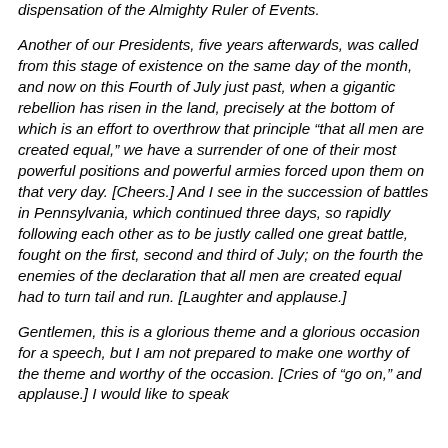dispensation of the Almighty Ruler of Events.
Another of our Presidents, five years afterwards, was called from this stage of existence on the same day of the month, and now on this Fourth of July just past, when a gigantic rebellion has risen in the land, precisely at the bottom of which is an effort to overthrow that principle “that all men are created equal,” we have a surrender of one of their most powerful positions and powerful armies forced upon them on that very day. [Cheers.] And I see in the succession of battles in Pennsylvania, which continued three days, so rapidly following each other as to be justly called one great battle, fought on the first, second and third of July; on the fourth the enemies of the declaration that all men are created equal had to turn tail and run. [Laughter and applause.]
Gentlemen, this is a glorious theme and a glorious occasion for a speech, but I am not prepared to make one worthy of the theme and worthy of the occasion. [Cries of “go on,” and applause.] I would like to speak